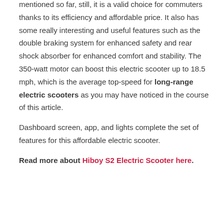mentioned so far, still, it is a valid choice for commuters thanks to its efficiency and affordable price. It also has some really interesting and useful features such as the double braking system for enhanced safety and rear shock absorber for enhanced comfort and stability. The 350-watt motor can boost this electric scooter up to 18.5 mph, which is the average top-speed for long-range electric scooters as you may have noticed in the course of this article.

Dashboard screen, app, and lights complete the set of features for this affordable electric scooter.

Read more about Hiboy S2 Electric Scooter here.